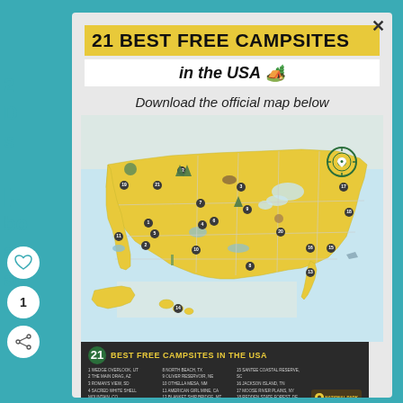21 BEST FREE CAMPSITES
in the USA 🏕️
Download the official map below
[Figure (map): Illustrated map of the USA showing 21 numbered free campsites across the country, with illustrated icons for wildlife, trees, lakes, and campsite features. Includes Alaska and Hawaii insets. Has a compass rose in the upper right area. Bottom banner lists all 21 Best Free Campsites in the USA.]
21 BEST FREE CAMPSITES IN THE USA — 1 WEDGE OVERLOOK, UT  2 THE MAIN DRAG, AZ  3 ROMAN'S VIEW, SD  4 SACRED WHITE SHELL MOUNTAIN, CO  5 NORTH CREEK, UT  6 JACKSON HOLE AFTON ROAD, CO  7 LAKE HATTIE, WY  8 NORTH BEACH, TX  9 OLIVER RESERVOIR, NE  10 OTHELLA MESA, NM  11 AMERICAN GIRL MINE, CA  12 BLANKET SHIP BRIDGE, MT  13 CYPRESS CREEK, FL  14 GREEN ROAD, HI  15 SANTEE COASTAL RESERVE, SC  16 JACKSON ISLAND, TN  17 MOOSE RIVER PLAINS, NY  18 REDDEN STATE FOREST, DE  19 SKULL CREEK, OR  20 WHITESIDE CAMPING AREA, MO  21 LAKE GREEN ROAD, ID